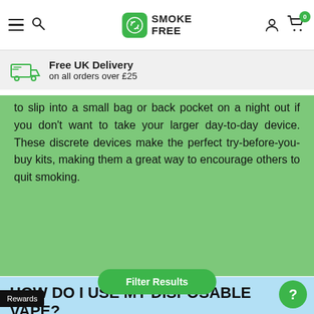Smoke Free — Free UK Delivery on all orders over £25
to slip into a small bag or back pocket on a night out if you don't want to take your larger day-to-day device. These discrete devices make the perfect try-before-you-buy kits, making them a great way to encourage others to quit smoking.
HOW DO I USE MY DISPOSABLE VAPE?
All disposable vapes use inhale activation – remove your ... remove any